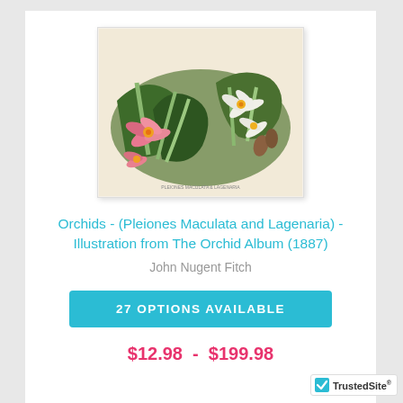[Figure (illustration): Botanical illustration of orchids (Pleiones Maculata and Lagenaria) from The Orchid Album (1887), showing pink and white orchid flowers with green foliage on a cream background.]
Orchids - (Pleiones Maculata and Lagenaria) - Illustration from The Orchid Album (1887)
John Nugent Fitch
27 OPTIONS AVAILABLE
$12.98 - $199.98